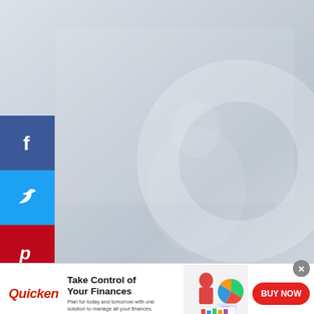[Figure (photo): Background photo of a person working at a desk, light gray/blue tones, with a faint circular element on the right side]
[Figure (infographic): Social media share buttons sidebar on the left: Facebook (blue), Twitter (light blue), Pinterest (red), LinkedIn (blue), Tumblr (dark blue/gray)]
[Figure (infographic): Infolinks branding badge at bottom left of sidebar]
[Figure (infographic): Quicken advertisement banner: logo on left, headline 'Take Control of Your Finances', subtext 'Plan for today and tomorrow with one solution to manage all your finances.', product image in center, red BUY NOW button on right, X close button top-right]